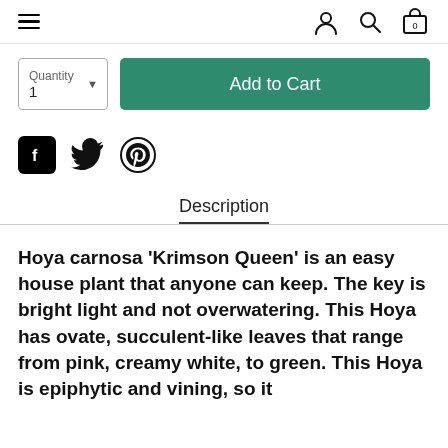≡ (menu) | person icon | search icon | cart (0)
[Figure (screenshot): Quantity selector box with label 'Quantity' and value '1' with dropdown arrow, alongside a green 'Add to Cart' button]
[Figure (infographic): Social share icons: Facebook (filled black square with f), Twitter (bird), Pinterest (P)]
Description
Hoya carnosa 'Krimson Queen' is an easy house plant that anyone can keep. The key is bright light and not overwatering. This Hoya has ovate, succulent-like leaves that range from pink, creamy white, to green. This Hoya is epiphytic and vining, so it